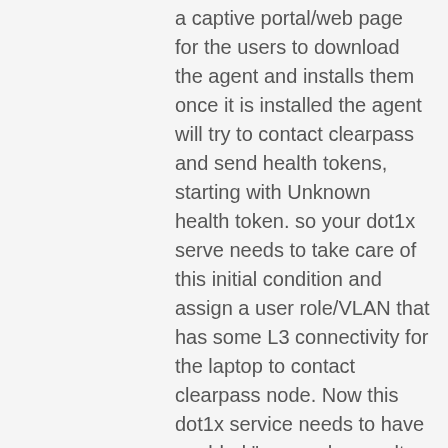a captive portal/web page for the users to download the agent and installs them once it is installed the agent will try to contact clearpass and send health tokens, starting with Unknown health token. so your dot1x serve needs to take care of this initial condition and assign a user role/VLAN that has some L3 connectivity for the laptop to contact clearpass node. Now this dot1x service needs to have enabled "use cache result from previous session" in the enforcement policy tab. Your other service is the webauth type Health check that looks at the Health tokens from the agent in there you can configure it to send terminate session /